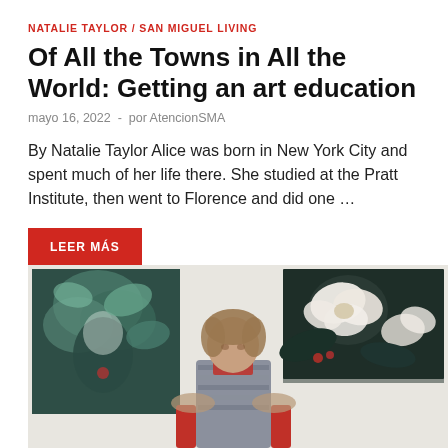NATALIE TAYLOR / SAN MIGUEL LIVING
Of All the Towns in All the World: Getting an art education
mayo 16, 2022  -  por AtencionSMA
By Natalie Taylor Alice was born in New York City and spent much of her life there. She studied at the Pratt Institute, then went to Florence and did one …
LEER MÁS
[Figure (photo): A person seated in front of two large paintings on a white wall. Left painting shows a dark green nature/figure scene; right painting shows white magnolia flowers on a dark background.]